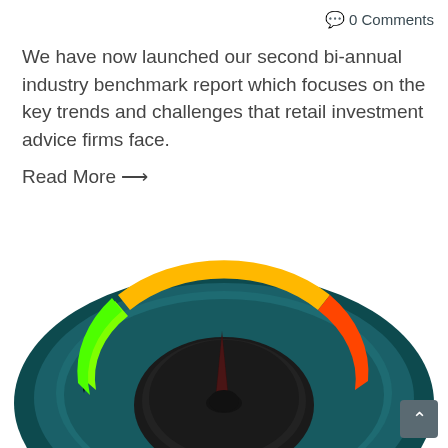0 Comments
We have now launched our second bi-annual industry benchmark report which focuses on the key trends and challenges that retail investment advice firms face.
Read More →
[Figure (infographic): A gauge/speedometer style dial with colored arcs (green on left, orange/yellow in center, red on right) and a dark needle pointing upward near center. The dial sits on a dark teal elliptical base with a dark circular center hub.]